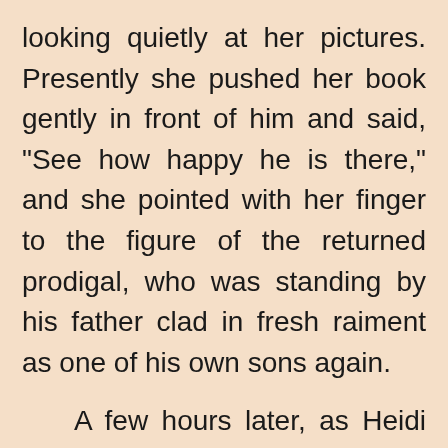looking quietly at her pictures. Presently she pushed her book gently in front of him and said, "See how happy he is there," and she pointed with her finger to the figure of the returned prodigal, who was standing by his father clad in fresh raiment as one of his own sons again.

A few hours later, as Heidi lay fast asleep in her bed, the grandfather went up the ladder